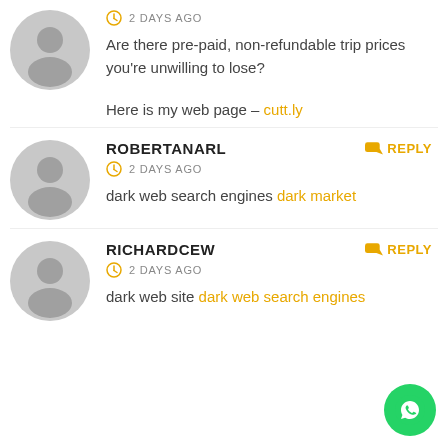Are there pre-paid, non-refundable trip prices you're unwilling to lose?
Here is my web page – cutt.ly
2 DAYS AGO
ROBERTANARL
REPLY
2 DAYS AGO
dark web search engines dark market
RICHARDCEW
REPLY
2 DAYS AGO
dark web site dark web search engines